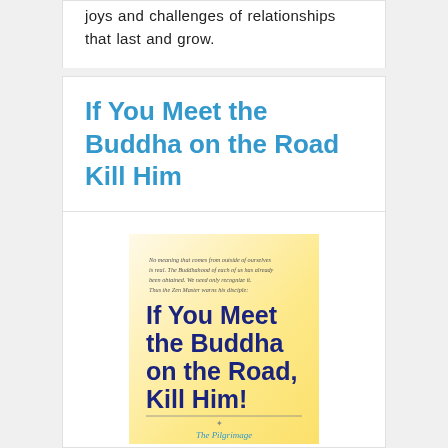joys and challenges of relationships that last and grow.
If You Meet the Buddha on the Road Kill Him
[Figure (illustration): Book cover of 'If You Meet the Buddha on the Road, Kill Him! The Pilgrimage of Psychotherapy' showing bold blue title text on a cream/yellow gradient background with small italic quote text at top.]